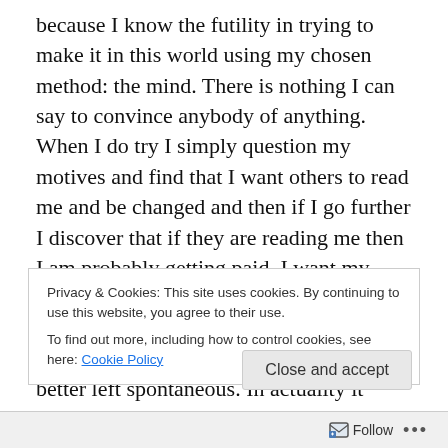because I know the futility in trying to make it in this world using my chosen method: the mind. There is nothing I can say to convince anybody of anything. When I do try I simply question my motives and find that I want others to read me and be changed and then if I go further I discover that if they are reading me then I am probably getting paid. I want my physical comforts so I can continue to dispense this “truth” which will set them free and keep me fed and housed. Truth is better left spontaneous. In actuality it cannot be given at all, but only expressed. Words are a cheap whore that I visit again and again, always believing
Privacy & Cookies: This site uses cookies. By continuing to use this website, you agree to their use.
To find out more, including how to control cookies, see here: Cookie Policy
Close and accept
Follow